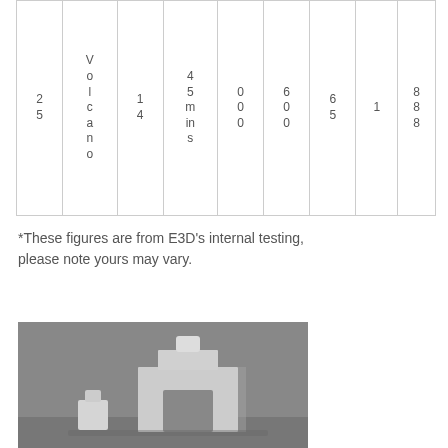| 25 | Volcano | 14 | 45 mins | 0
0
0 | 6
0
0 | 65 | 1 | 888 |
*These figures are from E3D's internal testing, please note yours may vary.
[Figure (photo): Black and white photograph of 3D printed objects resembling a small building/architectural structure with arched opening and a cylindrical piece beside it.]